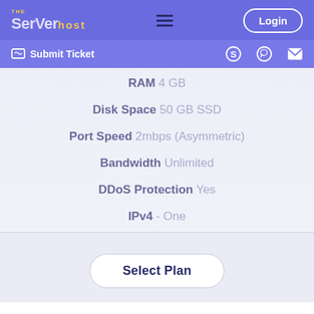THE ServerHost — Login — Submit Ticket — Skype — WhatsApp — Email
RAM 4 GB
Disk Space 50 GB SSD
Port Speed 2mbps (Asymmetric)
Bandwidth Unlimited
DDoS Protection Yes
IPv4 - One
Select Plan